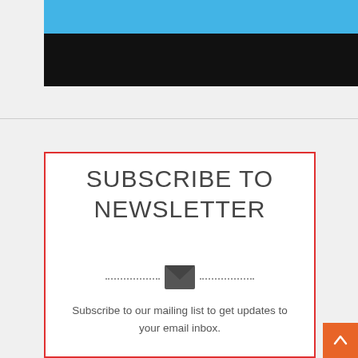[Figure (illustration): Blue bar and black bar banner at top of page]
SUBSCRIBE TO NEWSLETTER
[Figure (illustration): Envelope icon with dotted lines on each side]
Subscribe to our mailing list to get updates to your email inbox.